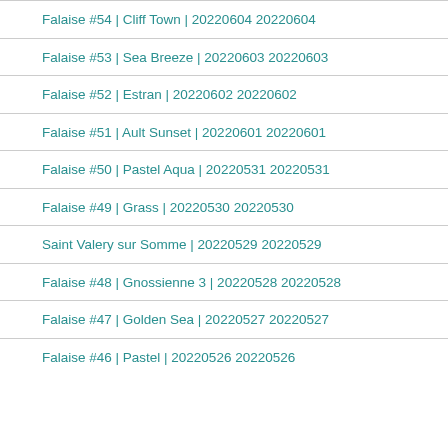Falaise #54 | Cliff Town | 20220604 20220604
Falaise #53 | Sea Breeze | 20220603 20220603
Falaise #52 | Estran | 20220602 20220602
Falaise #51 | Ault Sunset | 20220601 20220601
Falaise #50 | Pastel Aqua | 20220531 20220531
Falaise #49 | Grass | 20220530 20220530
Saint Valery sur Somme | 20220529 20220529
Falaise #48 | Gnossienne 3 | 20220528 20220528
Falaise #47 | Golden Sea | 20220527 20220527
Falaise #46 | Pastel | 20220526 20220526